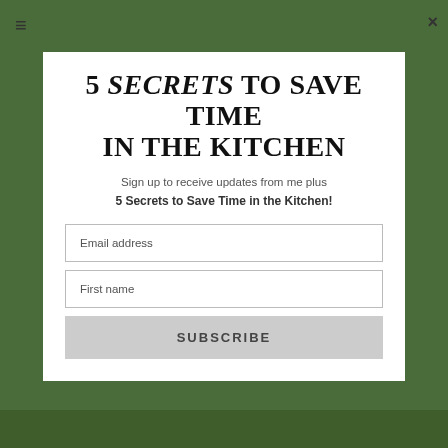5 SECRETS TO SAVE TIME IN THE KITCHEN
Sign up to receive updates from me plus 5 Secrets to Save Time in the Kitchen!
Email address
First name
SUBSCRIBE